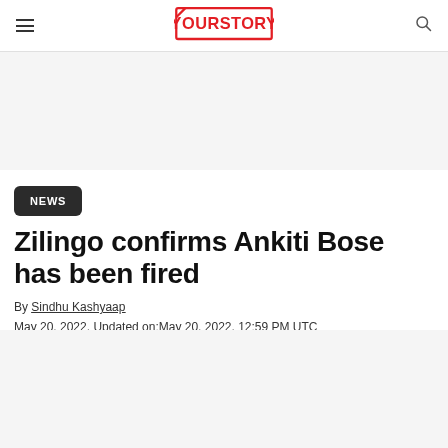YourStory
[Figure (logo): YourStory logo in red with a stylized book/page icon]
NEWS
Zilingo confirms Ankiti Bose has been fired
By Sindhu Kashyaap
May 20, 2022, Updated on:May 20, 2022, 12:59 PM UTC